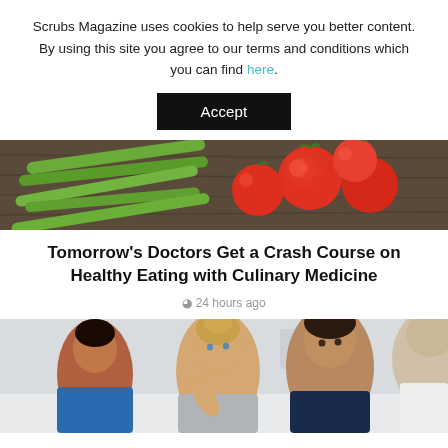Scrubs Magazine uses cookies to help serve you better content. By using this site you agree to our terms and conditions which you can find here.
Accept
[Figure (photo): Photo of fresh tomatoes and green beans on a wooden surface]
Tomorrow's Doctors Get a Crash Course on Healthy Eating with Culinary Medicine
24 hours ago
[Figure (photo): Photo of a couple consulting with a doctor, with a nurse in the background]